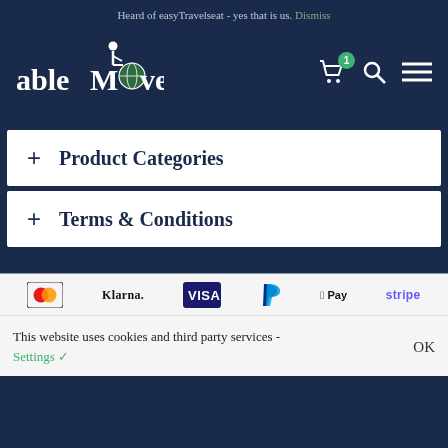Heard of easyTravelseat - yes that is us. Dismiss
[Figure (logo): ableMo(ve logo with wheelchair figure and globe icon, white text on dark navy background]
+ Product Categories
+ Terms & Conditions
[Figure (infographic): Payment method logos: Mastercard, Klarna, Visa, PayPal, Apple Pay, Stripe]
This website uses cookies and third party services - Settings ✓  OK